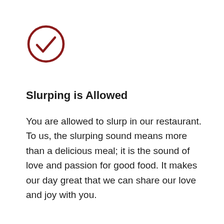[Figure (illustration): Dark red circle with a checkmark (tick) inside, indicating something is allowed or approved.]
Slurping is Allowed
You are allowed to slurp in our restaurant. To us, the slurping sound means more than a delicious meal; it is the sound of love and passion for good food. It makes our day great that we can share our love and joy with you.